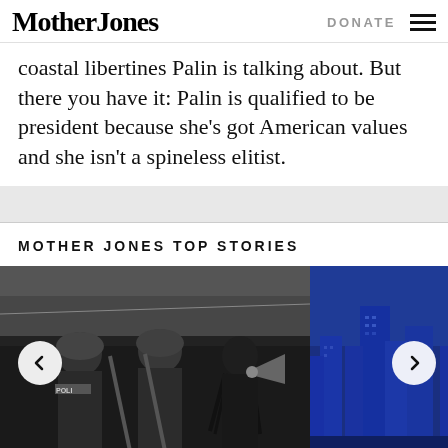Mother Jones | DONATE
coastal libertines Palin is talking about. But there you have it: Palin is qualified to be president because she’s got American values and she isn’t a spineless elitist.
MOTHER JONES TOP STORIES
[Figure (photo): Black and white photograph of a protest scene showing riot police in helmets and a woman with braided hair shouting into a megaphone. A 'POLI' label visible on an officer's vest. Bare winter trees in background.]
[Figure (photo): Blue-tinted cityscape/skyline photograph showing tall buildings in deep blue monochrome.]